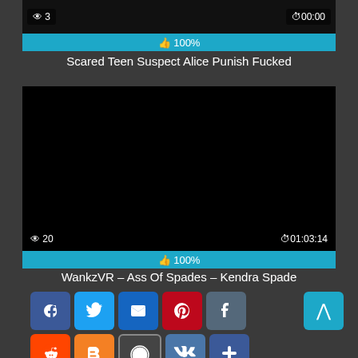[Figure (screenshot): Top thumbnail strip of a video showing views count '3' on left and duration '00:00' on right, with black background]
👍 100%
Scared Teen Suspect Alice Punish Fucked
[Figure (screenshot): Black video player with views '20' and duration '01:03:14' overlaid]
👍 100%
WankzVR – Ass Of Spades – Kendra Spade
[Figure (infographic): Social sharing buttons row 1: Facebook, Twitter, Email, Pinterest, Tumblr; back-to-top button]
[Figure (infographic): Social sharing buttons row 2: Reddit, Blogger, WordPress, VK, Share]